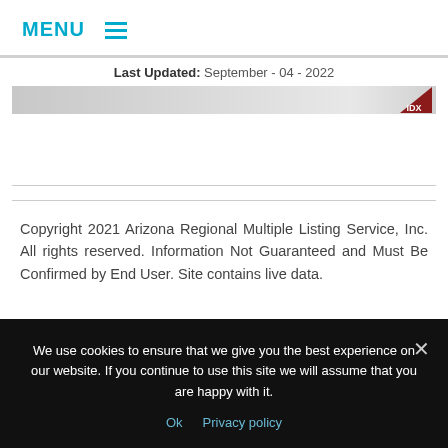MENU ≡
Last Updated: September - 04 - 2022
[Figure (logo): IDX logo — dark red triangle with 'IDX' text on grey gradient bar]
Copyright 2021 Arizona Regional Multiple Listing Service, Inc. All rights reserved. Information Not Guaranteed and Must Be Confirmed by End User. Site contains live data.
FILED UNDER: UNCATEGORIZED
We use cookies to ensure that we give you the best experience on our website. If you continue to use this site we will assume that you are happy with it.
Ok   Privacy policy